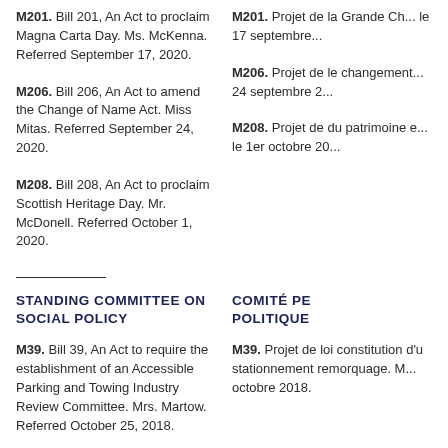M201. Bill 201, An Act to proclaim Magna Carta Day. Ms. McKenna. Referred September 17, 2020.
M201. Projet de la Grande Charte... le 17 septembre...
M206. Bill 206, An Act to amend the Change of Name Act. Miss Mitas. Referred September 24, 2020.
M206. Projet de le changement... 24 septembre 2...
M208. Bill 208, An Act to proclaim Scottish Heritage Day. Mr. McDonell. Referred October 1, 2020.
M208. Projet de du patrimoine... le 1er octobre 20...
STANDING COMMITTEE ON SOCIAL POLICY
COMITÉ PE POLITIQUE
M39. Bill 39, An Act to require the establishment of an Accessible Parking and Towing Industry Review Committee. Mrs. Martow. Referred October 25, 2018.
M39. Projet de loi constitution d'u stationnement remorquage. M... octobre 2018.